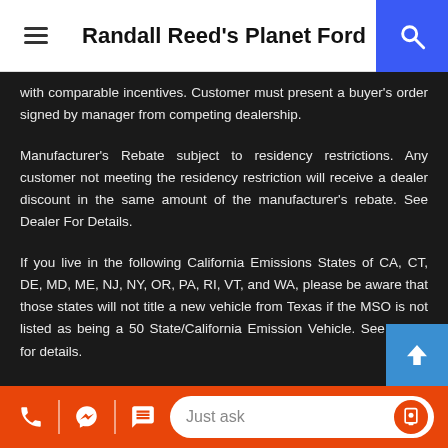Randall Reed's Planet Ford
with comparable incentives. Customer must present a buyer's order signed by manager from competing dealership.
Manufacturer's Rebate subject to residency restrictions. Any customer not meeting the residency restriction will receive a dealer discount in the same amount of the manufacturer's rebate. See Dealer For Details.
If you live in the following California Emissions States of CA, CT, DE, MD, ME, NJ, NY, OR, PA, RI, VT, and WA, please be aware that those states will not title a new vehicle from Texas if the MSO is not listed as being a 50 State/California Emission Vehicle. See dealer for details.
Planet Ford in Humble, Texas is proud to serve greater Houston,